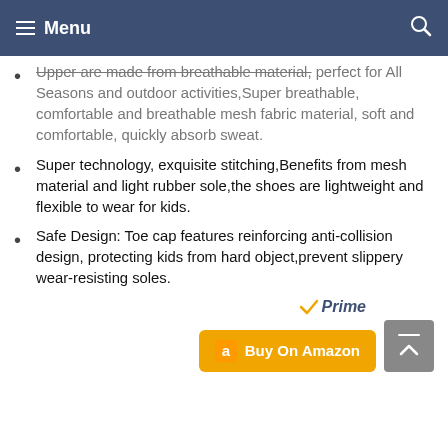Menu
Upper are made from breathable material, perfect for All Seasons and outdoor activities,Super breathable, comfortable and breathable mesh fabric material, soft and comfortable, quickly absorb sweat.
Super technology, exquisite stitching,Benefits from mesh material and light rubber sole,the shoes are lightweight and flexible to wear for kids.
Safe Design: Toe cap features reinforcing anti-collision design, protecting kids from hard object,prevent slippery wear-resisting soles.
[Figure (logo): Amazon Prime logo with checkmark and 'Prime' text in blue italic]
[Figure (other): Orange 'Buy On Amazon' button with Amazon 'a' icon]